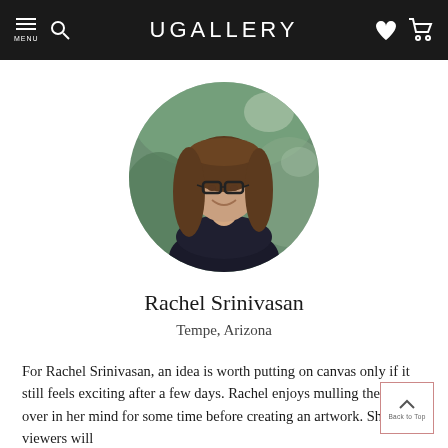UGALLERY
[Figure (photo): Circular profile photo of Rachel Srinivasan, a woman with long brown hair and glasses, smiling, wearing a dark top, with a blurred outdoor background.]
Rachel Srinivasan
Tempe, Arizona
For Rachel Srinivasan, an idea is worth putting on canvas only if it still feels exciting after a few days. Rachel enjoys mulling the idea over in her mind for some time before creating an artwork. She hopes viewers will